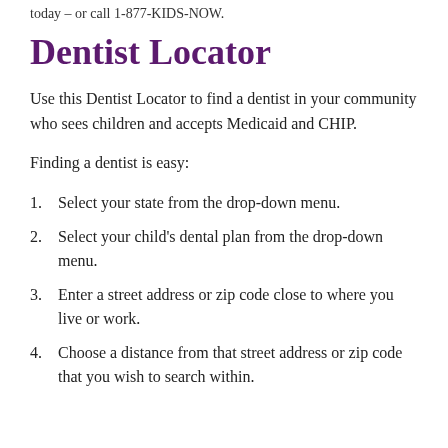today – or call 1-877-KIDS-NOW.
Dentist Locator
Use this Dentist Locator to find a dentist in your community who sees children and accepts Medicaid and CHIP.
Finding a dentist is easy:
Select your state from the drop-down menu.
Select your child's dental plan from the drop-down menu.
Enter a street address or zip code close to where you live or work.
Choose a distance from that street address or zip code that you wish to search within.